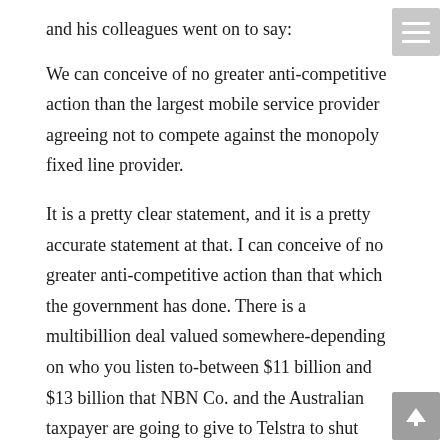and his colleagues went on to say:
We can conceive of no greater anti-competitive action than the largest mobile service provider agreeing not to compete against the monopoly fixed line provider.
It is a pretty clear statement, and it is a pretty accurate statement at that. I can conceive of no greater anti-competitive action than that which the government has done. There is a multibillion deal valued somewhere-depending on who you listen to-between $11 billion and $13 billion that NBN Co. and the Australian taxpayer are going to give to Telstra to shut down their network so that NBN Co. does not have to compete with that network. You have a situation where, as if it is not bad enough that we are paying $11 billion to $13 billion or so of taxpayer money to Telstra to shut down existing networks, NBN Co. has also forced Telstra to include in the contract of agreement to receive these billions of dollars of